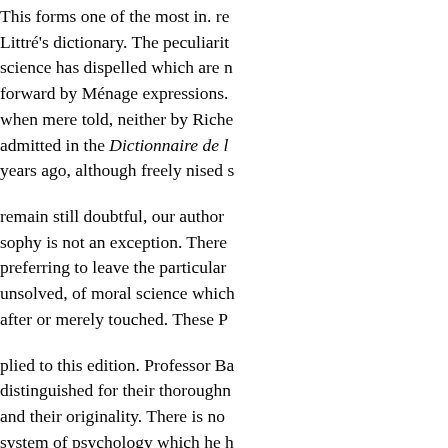This forms one of the most in. re Littré's dictionary. The peculiarit science has dispelled which are n forward by Ménage expressions. when mere told, neither by Riche admitted in the Dictionnaire de l years ago, although freely nised s

remain still doubtful, our author sophy is not an exception. There preferring to leave the particular unsolved, of moral science which after or merely touched. These P

plied to this edition. Professor Ba distinguished for their thoroughn and their originality. There is no system of psychology which he h Professor Bain, and his books are teacher. Professor Bain agrees th what is called the utiliadduced and takes care to exroom ; Diez says he believes positive evidence, thi supplements to Let us leave the c no work of neither be refuted no